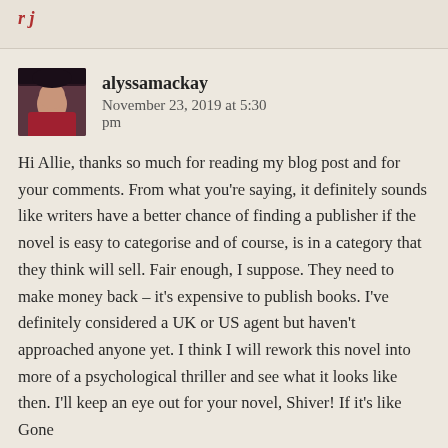r j
alyssamackay   November 23, 2019 at 5:30 pm
Hi Allie, thanks so much for reading my blog post and for your comments. From what you're saying, it definitely sounds like writers have a better chance of finding a publisher if the novel is easy to categorise and of course, is in a category that they think will sell. Fair enough, I suppose. They need to make money back – it's expensive to publish books. I've definitely considered a UK or US agent but haven't approached anyone yet. I think I will rework this novel into more of a psychological thriller and see what it looks like then. I'll keep an eye out for your novel, Shiver! If it's like Gone...